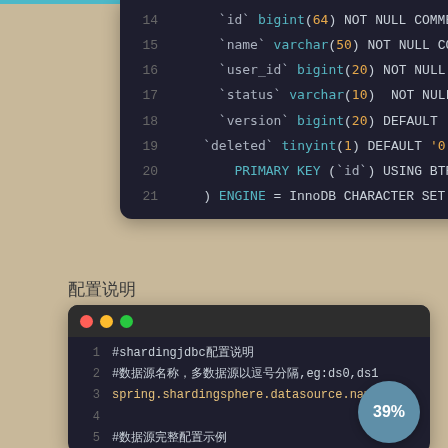[Figure (screenshot): Code editor screenshot showing SQL CREATE TABLE statement lines 14–21 with syntax highlighting on dark background]
配置说明
[Figure (screenshot): Code editor screenshot showing sharding JDBC configuration properties file, lines 1–5, with Chinese comments and spring.shardingsphere.datasource.names property]